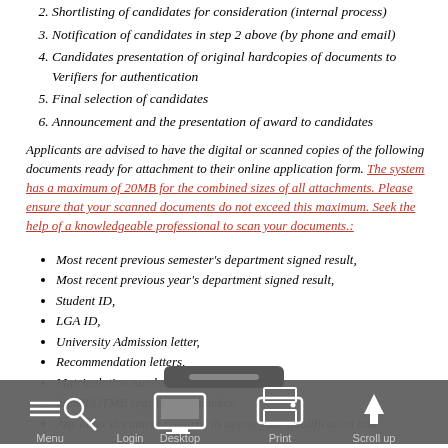2. Shortlisting of candidates for consideration (internal process)
3. Notification of candidates in step 2 above (by phone and email)
4. Candidates presentation of original hardcopies of documents to Verifiers for authentication
5. Final selection of candidates
6. Announcement and the presentation of award to candidates
Applicants are advised to have the digital or scanned copies of the following documents ready for attachment to their online application form. The system has a maximum of 20MB for the combined sizes of all attachments. Please ensure that your scanned documents do not exceed this maximum. Seek the help of a knowledgeable professional to scan your documents.:
Most recent previous semester's department signed result,
Most recent previous year's department signed result,
Student ID,
LGA ID,
University Admission letter,
Recommendation letters,
Matriculation number,
JAMB/UTME registration number,
Any other document required to assess your qualification and